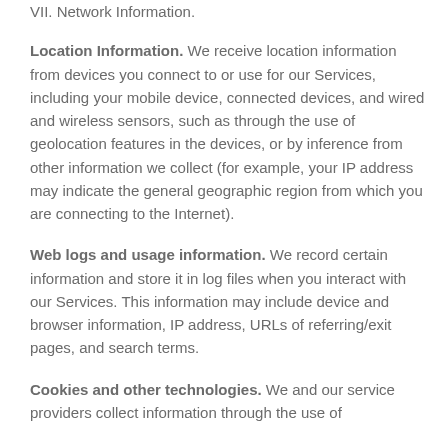VII. Network Information.
Location Information. We receive location information from devices you connect to or use for our Services, including your mobile device, connected devices, and wired and wireless sensors, such as through the use of geolocation features in the devices, or by inference from other information we collect (for example, your IP address may indicate the general geographic region from which you are connecting to the Internet).
Web logs and usage information. We record certain information and store it in log files when you interact with our Services. This information may include device and browser information, IP address, URLs of referring/exit pages, and search terms.
Cookies and other technologies. We and our service providers collect information through the use of